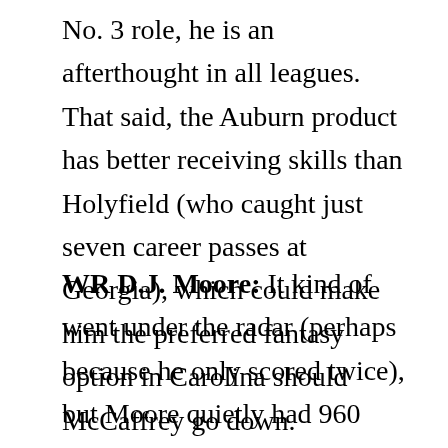No. 3 role, he is an afterthought in all leagues. That said, the Auburn product has better receiving skills than Holyfield (who caught just seven career passes at Georgia), which could make him the preferred fantasy option in Carolina should McCaffrey go down.
WR D.J. Moore: It kind of went under the radar (perhaps because he only scored twice), but Moore quietly had 960 yards from scrimmage last season, and his big-play ability was on full display with 14.3 yards per reception and 13.2 yards per rush. However, the Panthers will have more weapons this year